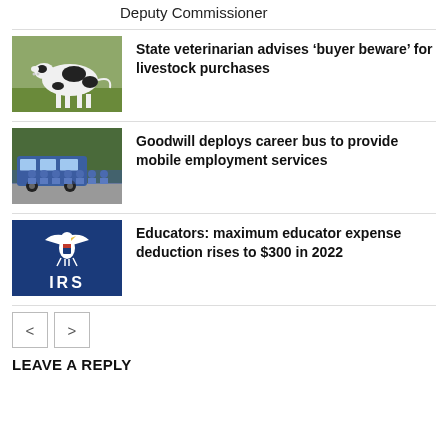Deputy Commissioner
[Figure (photo): Black and white dairy cow standing in a green field]
State veterinarian advises ‘buyer beware’ for livestock purchases
[Figure (photo): Group of people in blue shirts standing in front of a career bus]
Goodwill deploys career bus to provide mobile employment services
[Figure (logo): IRS logo on dark blue background with eagle emblem and IRS text]
Educators: maximum educator expense deduction rises to $300 in 2022
LEAVE A REPLY